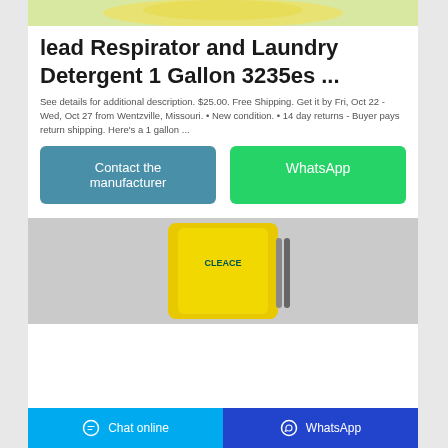[Figure (photo): Top partial product image showing yellow/green packaging]
lead Respirator and Laundry Detergent 1 Gallon 3235es ...
See details for additional description. $25.00. Free Shipping. Get it by Fri, Oct 22 - Wed, Oct 27 from Wentzville, Missouri. • New condition. • 14 day returns - Buyer pays return shipping. Here's a 1 gallon ...
[Figure (other): Contact the manufacturer button (teal/blue) and WhatsApp button (green)]
[Figure (photo): Bottom product image showing yellow CLEACE branded bag/package]
Chat online   WhatsApp